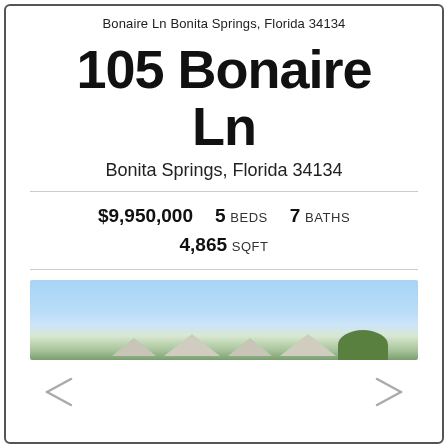Bonaire Ln Bonita Springs, Florida 34134
105 Bonaire Ln
Bonita Springs, Florida 34134
$9,950,000  5 BEDS  7 BATHS  4,865 SQFT
[Figure (photo): Aerial or exterior panoramic photo of the property showing rooftops against a blue sky with greenery]
[Figure (other): Navigation arrows at the bottom of the page]